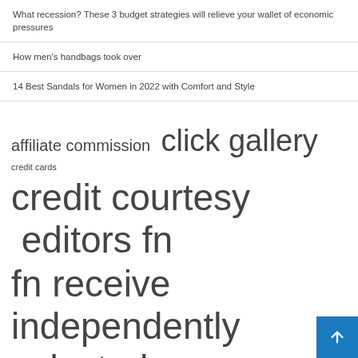What recession? These 3 budget strategies will relieve your wallet of economic pressures
How men's handbags took over
14 Best Sandals for Women in 2022 with Comfort and Style
affiliate commission  click gallery  credit cards  credit courtesy  editors fn  fn receive  independently selected  leather wallet  links retailer  louis vuitton  north america  orders retail  products services